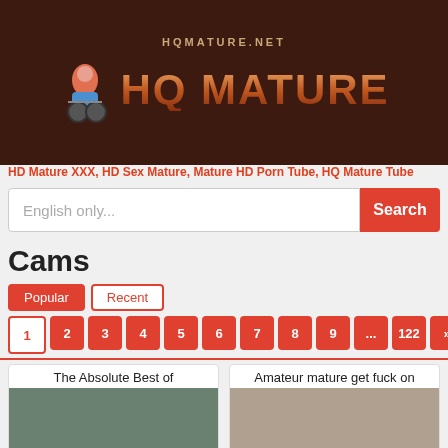[Figure (logo): HQMature.net logo with woman on bicycle graphic and large stylized 'HQ MATURE' text on dark brown background]
HD Mature XXX, HD Sex Mature, Mature HD Porn Tube, HQ Mature Tube
English only...
Search
Cams
Popular
Recent
1
2
3
4
5
6
7
8
9
...
122
»
[Figure (photo): Video thumbnail showing mature content, overlay text: '7 years ago' and '78:55']
The Absolute Best of
🔗 Amateur 🔗 Ass Licking 🔗 Babe 🔗 Blowjob
[Figure (photo): Video thumbnail showing mature content, overlay text: '6 years ago' and '07:47']
Amateur mature get fuck on
🔗 Amateur 🔗 BBW 🔗 Hardcore 🔗 POV